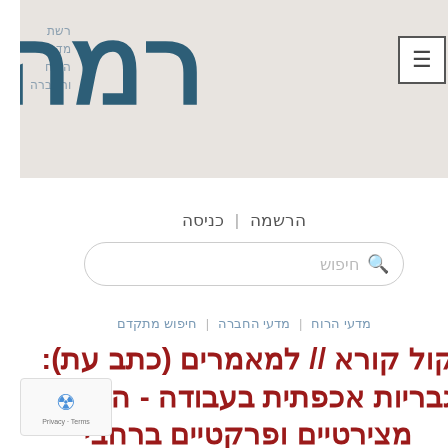[Figure (logo): Rama network logo with Hebrew text: רשת מדעי הרוח והחברה and large letters רמה]
הרשמה | כניסה
[Figure (screenshot): Search box with placeholder text חיפוש]
מדעי הרוח | מדעי החברה | חיפוש מתקדם
קול קורא // למאמרים (כתב עת): גבריות אכפתית בעבודה - היבטים מצירטיים ופרקטיים ברחבי ספה [אנגלית] דדליין